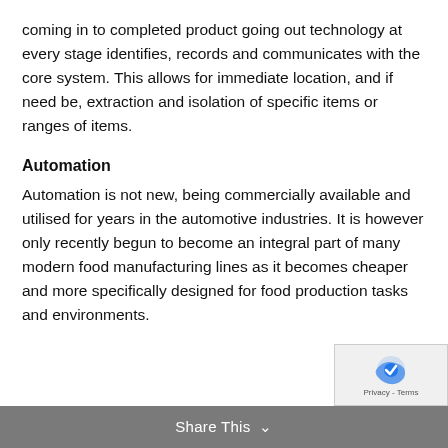coming in to completed product going out technology at every stage identifies, records and communicates with the core system. This allows for immediate location, and if need be, extraction and isolation of specific items or ranges of items.
Automation
Automation is not new, being commercially available and utilised for years in the automotive industries. It is however only recently begun to become an integral part of many modern food manufacturing lines as it becomes cheaper and more specifically designed for food production tasks and environments.
Share This